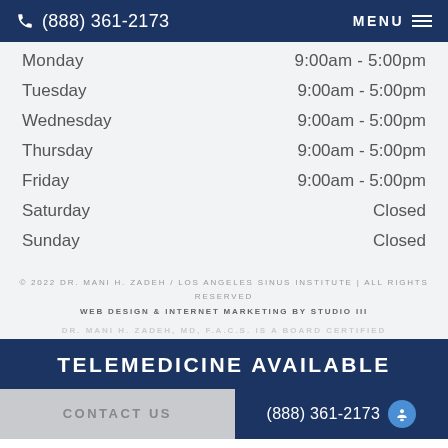(888) 361-2173  MENU
| Day | Hours |
| --- | --- |
| Monday | 9:00am - 5:00pm |
| Tuesday | 9:00am - 5:00pm |
| Wednesday | 9:00am - 5:00pm |
| Thursday | 9:00am - 5:00pm |
| Friday | 9:00am - 5:00pm |
| Saturday | Closed |
| Sunday | Closed |
© 2022 DR. MANI H. ZADEH / LOS ANGELES SINUS INSTITUTE | ALL RIGHTS RESERVED
WEB DESIGN & INTERNET MARKETING BY STUDIO III
DR. MANI H. ZADEH, MD, F.A.C.S. IS A BOARD CERTIFIED
TELEMEDICINE AVAILABLE
CONTACT US  (888) 361-2173